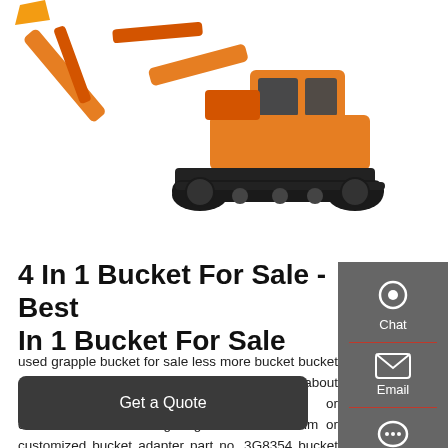[Figure (photo): Orange excavator/construction machinery with black tracks, shown against white background, with arm raised at top left]
4 In 1 Bucket For Sale - Best In 1 Bucket For Sale
used grapple bucket for sale less more bucket bucket color yellow or customized bucket unit weight about 500kgs bucket material Q345B+NM400 or customized main cutting edge thickness 30mm or customized bucket adapter part no. 3G8354 bucket teeth no. 3 teeth or customized bucket teeth pa
Get a Quote